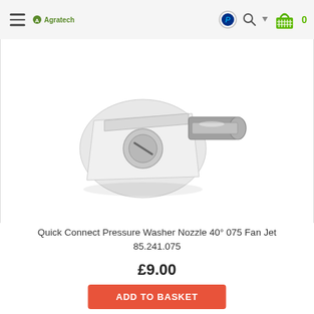Agratech
[Figure (photo): Quick connect pressure washer nozzle with white plastic body and stainless steel tip, photographed on white background]
Quick Connect Pressure Washer Nozzle 40° 075 Fan Jet
85.241.075
£9.00
ADD TO BASKET